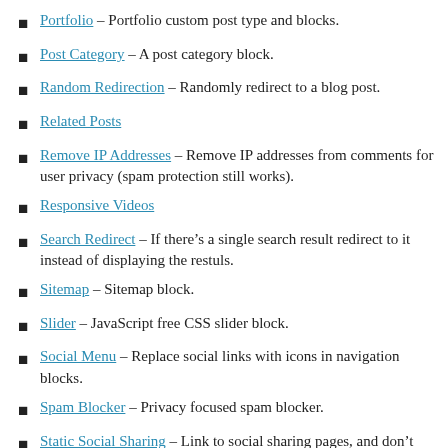Portfolio – Portfolio custom post type and blocks.
Post Category – A post category block.
Random Redirection – Randomly redirect to a blog post.
Related Posts
Remove IP Addresses – Remove IP addresses from comments for user privacy (spam protection still works).
Responsive Videos
Search Redirect – If there's a single search result redirect to it instead of displaying the restuls.
Sitemap – Sitemap block.
Slider – JavaScript free CSS slider block.
Social Menu – Replace social links with icons in navigation blocks.
Spam Blocker – Privacy focused spam blocker.
Static Social Sharing – Link to social sharing pages, and don't load social network content on your site.